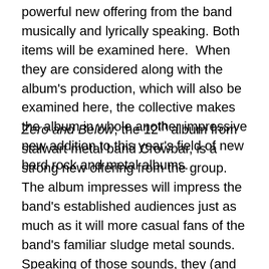powerful new offering from the band musically and lyrically speaking. Both items will be examined here.  When they are considered along with the album's production, which will also be examined here, the collective makes the album in whole another impressive new addition to this year's field of new hard rock and metal albums.
Zero and Below, the 12th album from stalwart metal band Crowbar, is a strong new offering from the group.  The album impresses will impress the band's established audiences just as much as it will more casual fans of the band's familiar sludge metal sounds.  Speaking of those sounds, they (and the album's overall arrangements) are just part of what makes the album appealing to the noted audiences.  From beginning to end, the album's arrangements continue to present the band's familiar